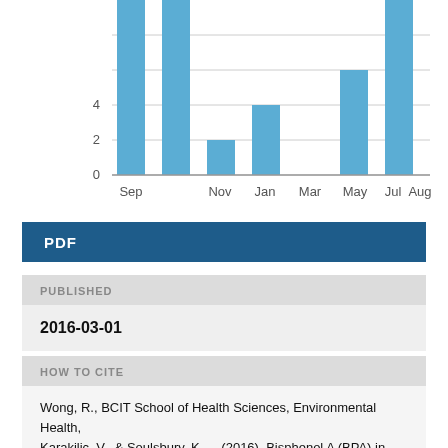[Figure (bar-chart): Monthly downloads]
PDF
PUBLISHED
2016-03-01
HOW TO CITE
Wong, R., BCIT School of Health Sciences, Environmental Health, Karakilic, V., & Soulsbury, K. . . (2016). Bisphenol A (BPA) in thermal